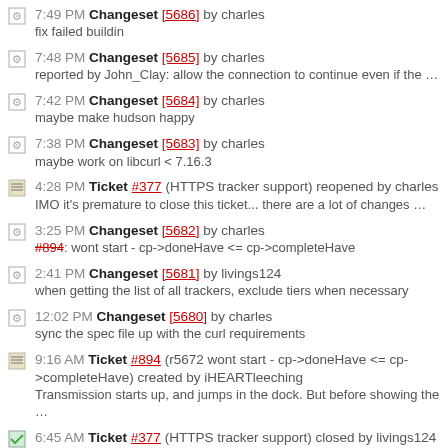7:49 PM Changeset [5686] by charles — fix failed buildin
7:48 PM Changeset [5685] by charles — reported by John_Clay: allow the connection to continue even if the …
7:42 PM Changeset [5684] by charles — maybe make hudson happy
7:38 PM Changeset [5683] by charles — maybe work on libcurl < 7.16.3
4:28 PM Ticket #377 (HTTPS tracker support) reopened by charles — IMO it's premature to close this ticket... there are a lot of changes …
3:25 PM Changeset [5682] by charles — #894: wont start - cp->doneHave <= cp->completeHave
2:41 PM Changeset [5681] by livings124 — when getting the list of all trackers, exclude tiers when necessary
12:02 PM Changeset [5680] by charles — sync the spec file up with the curl requirements
9:16 AM Ticket #894 (r5672 wont start - cp->doneHave <= cp->completeHave) created by iHEARTleeching — Transmission starts up, and jumps in the dock. But before showing the …
6:45 AM Ticket #377 (HTTPS tracker support) closed by livings124 — fixed: [5673] - [5677]
6:43 AM Changeset [5679] by livings124